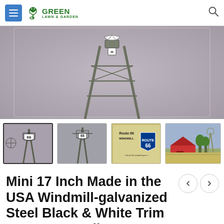GREEN LAWN & GARDEN
[Figure (photo): Main product photo of a mini windmill with galvanized steel construction and Route 66 tail, shown close-up with blurred gray background]
[Figure (photo): Thumbnail 1: Front view of windmill with Route 66 shield logo, selected state]
[Figure (photo): Thumbnail 2: Close-up of windmill top showing Route 66 shield]
[Figure (photo): Thumbnail 3: Product box/packaging showing Route 66 Windmill branding]
[Figure (photo): Thumbnail 4: Windmill displayed in a garden scene with barn and trees]
Mini 17 Inch Made in the USA Windmill-galvanized Steel Black & White Trim – Route 66 Tail